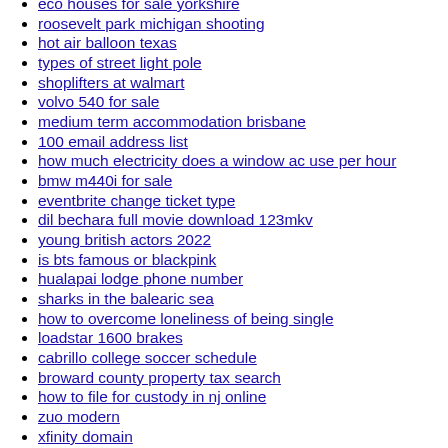eco houses for sale yorkshire
roosevelt park michigan shooting
hot air balloon texas
types of street light pole
shoplifters at walmart
volvo 540 for sale
medium term accommodation brisbane
100 email address list
how much electricity does a window ac use per hour
bmw m440i for sale
eventbrite change ticket type
dil bechara full movie download 123mkv
young british actors 2022
is bts famous or blackpink
hualapai lodge phone number
sharks in the balearic sea
how to overcome loneliness of being single
loadstar 1600 brakes
cabrillo college soccer schedule
broward county property tax search
how to file for custody in nj online
zuo modern
xfinity domain
f1 mini goldendoodle las vegas
lawrence county housing authority
cost of mooring a boat in spain